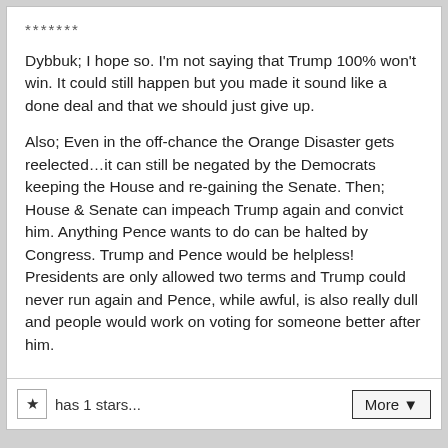*******
Dybbuk; I hope so. I'm not saying that Trump 100% won't win. It could still happen but you made it sound like a done deal and that we should just give up.
Also; Even in the off-chance the Orange Disaster gets reelected…it can still be negated by the Democrats keeping the House and re-gaining the Senate. Then; House & Senate can impeach Trump again and convict him. Anything Pence wants to do can be halted by Congress. Trump and Pence would be helpless! Presidents are only allowed two terms and Trump could never run again and Pence, while awful, is also really dull and people would work on voting for someone better after him.
★ has 1 stars... More ▾